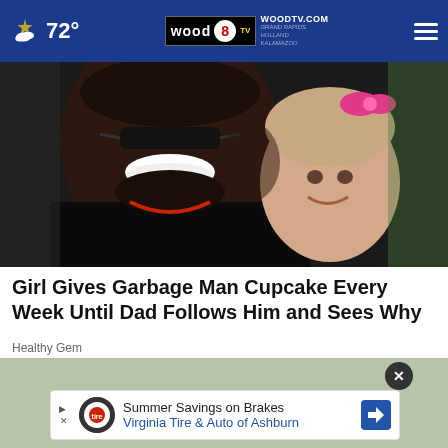72° — WOODTV.COM — WOOD TV 8 — GRAND RAPIDS, HOLLAND, KALAMAZOO
[Figure (photo): A smiling man with dreadlocks and sunglasses posing cheek-to-cheek with a young smiling girl wearing a pink bow]
Girl Gives Garbage Man Cupcake Every Week Until Dad Follows Him and Sees Why
Healthy Gem
[Figure (photo): Partial view of a second image with a close-up, background mostly a neutral/beige tone]
[Figure (other): Advertisement banner: Summer Savings on Brakes — Virginia Tire & Auto of Ashburn, with Tire-auto logo and blue arrow icon]